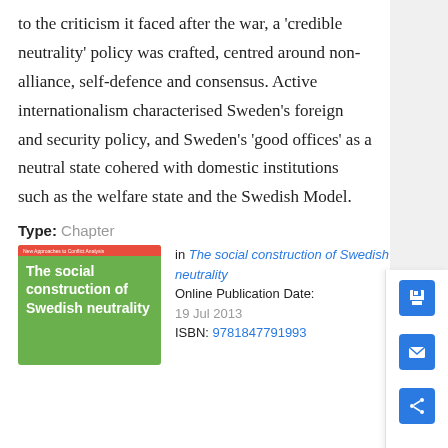to the criticism it faced after the war, a 'credible neutrality' policy was crafted, centred around non-alliance, self-defence and consensus. Active internationalism characterised Sweden's foreign and security policy, and Sweden's 'good offices' as a neutral state cohered with domestic institutions such as the welfare state and the Swedish Model.
Type: Chapter
[Figure (illustration): Book cover of 'The social construction of Swedish neutrality' with green background and red top bar reading 'New Approaches to Conflict Analysis']
in The social construction of Swedish neutrality
Online Publication Date: 19 Jul 2013
ISBN: 9781847791993